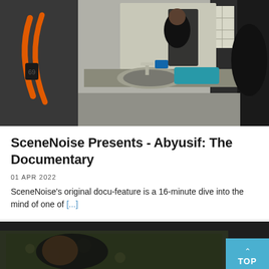[Figure (photo): A man in black t-shirt photographed from behind in a bathroom, looking into a mirror above a sink; orange graffiti visible on the left wall; teal towel on the counter; another person partially visible on the right.]
SceneNoise Presents - Abyusif: The Documentary
01 APR 2022
SceneNoise's original docu-feature is a 16-minute dive into the mind of one of [...]
[Figure (photo): Dark, moody partial image of a person lying down against a patterned fabric background; a teal overlay box in the bottom-right corner shows a TOP navigation button with an upward arrow.]